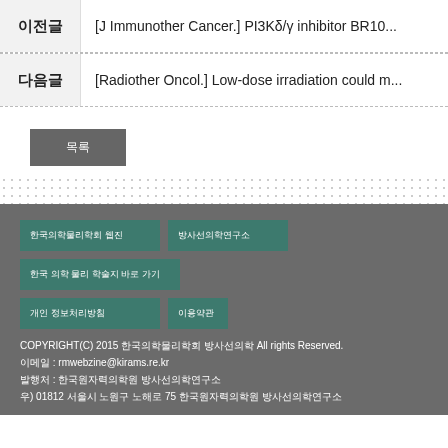이전글  [J Immunother Cancer.] PI3Kδ/γ inhibitor BR10...
다음글  [Radiother Oncol.] Low-dose irradiation could m...
목록
COPYRIGHT(C) 2015 한국의학물리학회 방사선의학 All rights Reserved.
이메일 : rmwebzine@kirams.re.kr
발행처 : 한국원자력의학원 방사선의학연구소
우) 01812 서울시 노원구 노해로 75 한국원자력의학원 방사선의학연구소